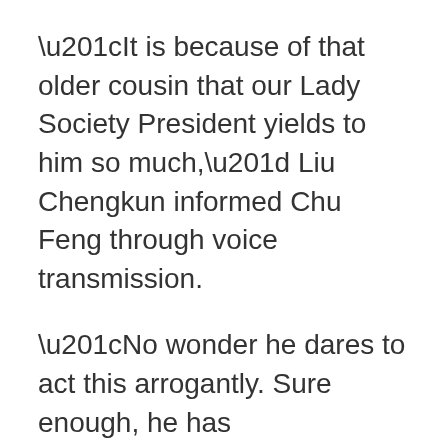“It is because of that older cousin that our Lady Society President yields to him so much,” Liu Chengkun informed Chu Feng through voice transmission.
“No wonder he dares to act this arrogantly. Sure enough, he has backing,” Chu Feng started to frown slightly. Although Zhao Ruofan was a worthless nobody, since he had such backing, it